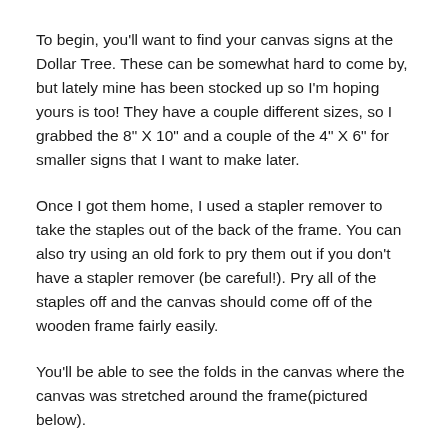To begin, you'll want to find your canvas signs at the Dollar Tree. These can be somewhat hard to come by, but lately mine has been stocked up so I'm hoping yours is too! They have a couple different sizes, so I grabbed the 8" X 10" and a couple of the 4" X 6" for smaller signs that I want to make later.
Once I got them home, I used a stapler remover to take the staples out of the back of the frame. You can also try using an old fork to pry them out if you don't have a stapler remover (be careful!). Pry all of the staples off and the canvas should come off of the wooden frame fairly easily.
You'll be able to see the folds in the canvas where the canvas was stretched around the frame(pictured below).